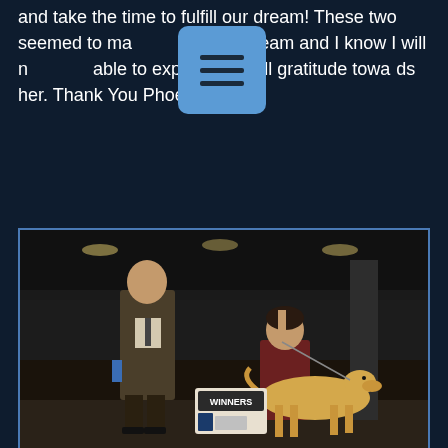and take the time to fulfill our dream! These two seemed to make a wonderful team and I know I will never be able to express my full gratitude towards her. Thank You Phoebe!
[Figure (photo): Dog show photo showing a man in a suit holding a blue ribbon, a woman kneeling next to a whippet/greyhound dog, and a Winners sign in an indoor show arena at night.]
Spirit's Second Major win at AWC Supported entry show under Breeder judge Barbara Rupert!
[Figure (photo): Partial photo showing the top of a white lattice fence and trees in background.]